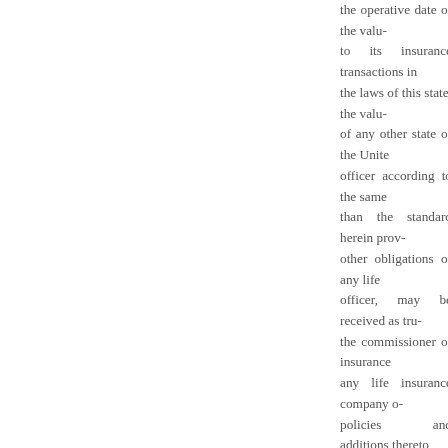the operative date of the valuation to its insurance transactions in the laws of this state, the valuation of any other state of the United officer according to the same than the standard herein provided other obligations of any life officer, may be received as trustee the commissioner of insurance any life insurance company or policies and additions thereto specifying the amount of the prescribed by this section the compensation shall be paid by obligations are valued, upon a
(B) The provisions set forth to this section issued on or operative date of the valuation such policies and contracts.
(C) The minimum standard 428, and amendments thereto,